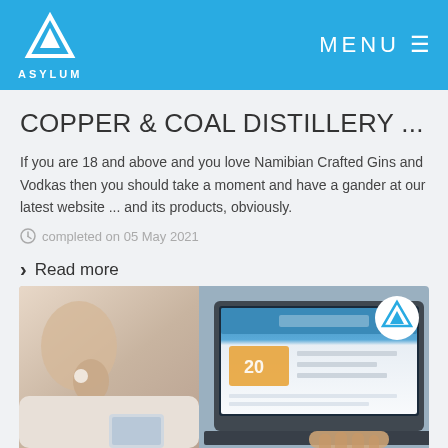ASYLUM | MENU
COPPER & COAL DISTILLERY ...
If you are 18 and above and you love Namibian Crafted Gins and Vodkas then you should take a moment and have a gander at our latest website ... and its products, obviously.
completed on 05 May 2021
Read more
[Figure (photo): Person sitting at a laptop showing a website with a '20' graphic and blue header, with a smartphone in the foreground, and Asylum logo badge overlay]